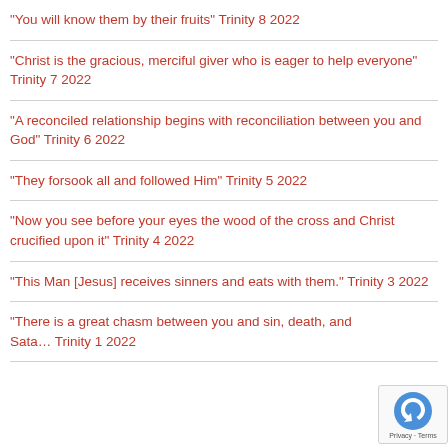“You will know them by their fruits” Trinity 8 2022
“Christ is the gracious, merciful giver who is eager to help everyone” Trinity 7 2022
“A reconciled relationship begins with reconciliation between you and God” Trinity 6 2022
“They forsook all and followed Him” Trinity 5 2022
“Now you see before your eyes the wood of the cross and Christ crucified upon it” Trinity 4 2022
“This Man [Jesus] receives sinners and eats with them.” Trinity 3 2022
“There is a great chasm between you and sin, death, and Sata… Trinity 1 2022